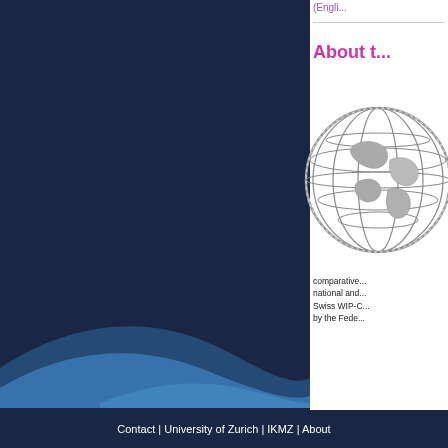(Engli...
About t...
[Figure (illustration): Grayscale metallic globe wireframe illustration]
comparative... national and... Swiss WIP-C... by the Fede...
Furthe...
Contact | University of Zurich | IKMZ | About